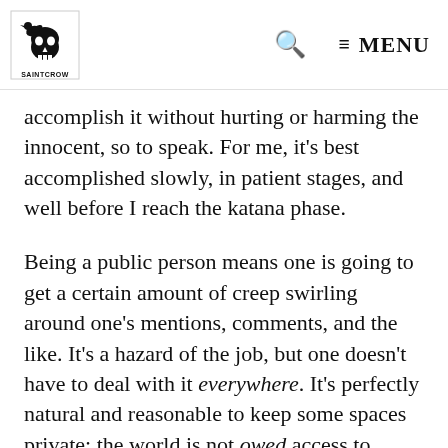SAINTCROW [logo] | search | MENU
accomplish it without hurting or harming the innocent, so to speak. For me, it's best accomplished slowly, in patient stages, and well before I reach the katana phase.
Being a public person means one is going to get a certain amount of creep swirling around one's mentions, comments, and the like. It's a hazard of the job, but one doesn't have to deal with it everywhere. It's perfectly natural and reasonable to keep some spaces private; the world is not owed access to every single moment of your day.